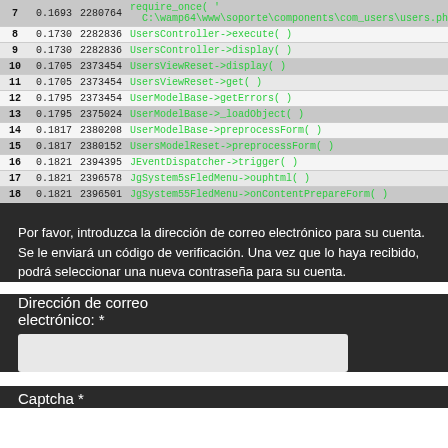| # | time | memory | function |
| --- | --- | --- | --- |
| 7 | 0.1693 | 2280764 | require_once( 'C:\wamp64\www\soporte\components\com_users\users.php' ) |
| 8 | 0.1730 | 2282836 | UsersController->execute( ) |
| 9 | 0.1730 | 2282836 | UsersController->display( ) |
| 10 | 0.1705 | 2373454 | UsersViewReset->display( ) |
| 11 | 0.1705 | 2373454 | UsersViewReset->get( ) |
| 12 | 0.1795 | 2373454 | UserModelBase->getErrors( ) |
| 13 | 0.1795 | 2375024 | UserModelBase->_loadObject( ) |
| 14 | 0.1817 | 2380208 | UserModelBase->preprocessForm( ) |
| 15 | 0.1817 | 2380152 | UsersModelReset->preprocessForm( ) |
| 16 | 0.1821 | 2394395 | JEventDispatcher->trigger( ) |
| 17 | 0.1821 | 2396578 | JSystemSsFledMenu->ouphtml( ) |
| 18 | 0.1821 | 2396501 | JSystem55FledMenu->onContentPrepareForm( ) |
Por favor, introduzca la dirección de correo electrónico para su cuenta. Se le enviará un código de verificación. Una vez que lo haya recibido, podrá seleccionar una nueva contraseña para su cuenta.
Dirección de correo electrónico: *
Captcha *